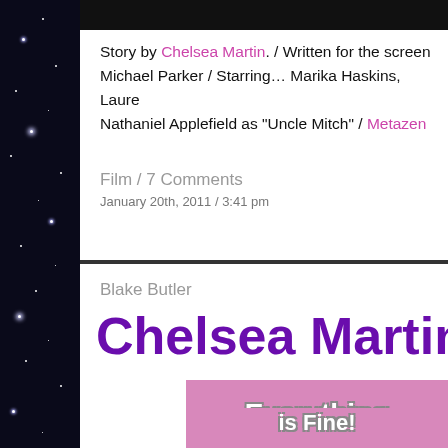Story by Chelsea Martin. / Written for the screen Michael Parker / Starring… Marika Haskins, Laure Nathaniel Applefield as "Uncle Mitch" / Metazen
Film / 7 Comments
January 20th, 2011 / 3:41 pm
Blake Butler
Chelsea Martin
[Figure (illustration): Pink/mauve background book cover image with stylized white outlined text reading 'Everything' and partial text below, in a rounded bubble font style]